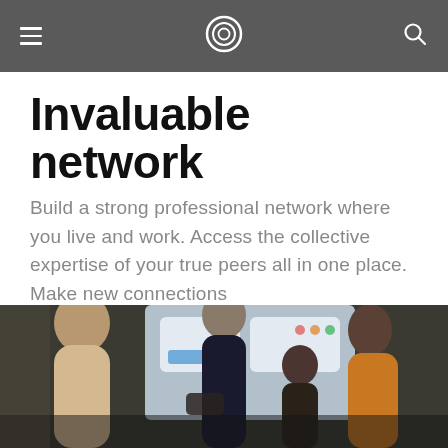Invaluable network
Build a strong professional network where you live and work. Access the collective expertise of your true peers all in one place. Make new connections
[Figure (photo): Group of four professionals gathered around, looking at a phone/tablet. A presentation screen visible in background showing UI mockups.]